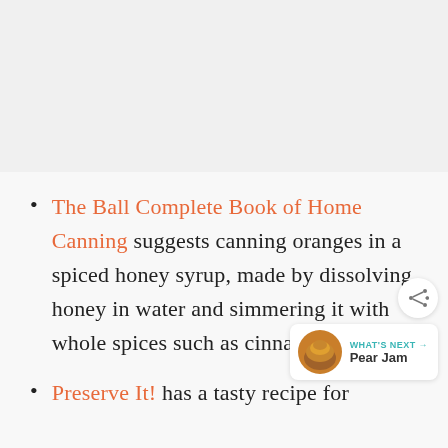The Ball Complete Book of Home Canning suggests canning oranges in a spiced honey syrup, made by dissolving honey in water and simmering it with whole spices such as cinnamon.
Preserve It! has a tasty recipe for